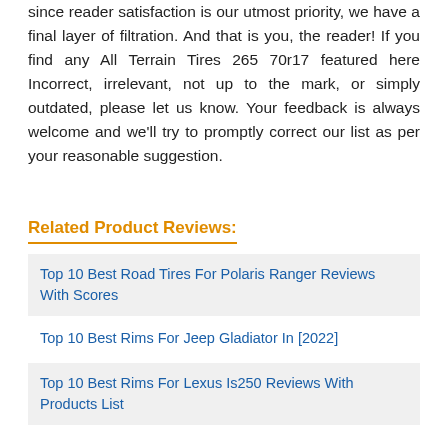since reader satisfaction is our utmost priority, we have a final layer of filtration. And that is you, the reader! If you find any All Terrain Tires 265 70r17 featured here Incorrect, irrelevant, not up to the mark, or simply outdated, please let us know. Your feedback is always welcome and we'll try to promptly correct our list as per your reasonable suggestion.
Related Product Reviews:
Top 10 Best Road Tires For Polaris Ranger Reviews With Scores
Top 10 Best Rims For Jeep Gladiator In [2022]
Top 10 Best Rims For Lexus Is250 Reviews With Products List